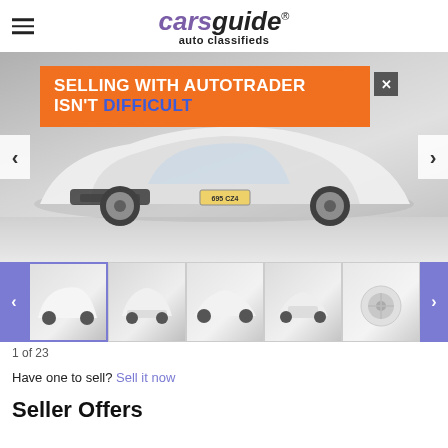carsguide® auto classifieds
[Figure (photo): Main image of white Audi RS sedan front/lower detail on grey pavement, with orange Autotrader advertisement overlay reading 'SELLING WITH AUTOTRADER ISN'T DIFFICULT'. License plate 695 CZ4 visible. Navigation arrows on left and right sides.]
[Figure (photo): Thumbnail strip showing 5 thumbnails of a white Audi sedan from various angles: front 3/4, front grille, side, rear, wheel detail. Navigation arrows on left (purple) and right (purple).]
1 of 23
Have one to sell? Sell it now
Seller Offers